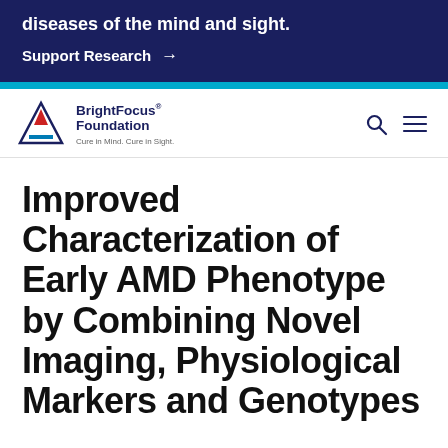diseases of the mind and sight.
Support Research →
[Figure (logo): BrightFocus Foundation logo with triangle icon, text 'BrightFocus Foundation' and tagline 'Cure in Mind. Cure in Sight.']
Improved Characterization of Early AMD Phenotype by Combining Novel Imaging, Physiological Markers and Genotypes